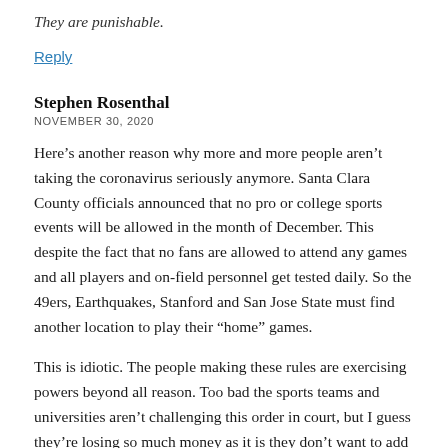They are punishable.
Reply
Stephen Rosenthal
NOVEMBER 30, 2020
Here’s another reason why more and more people aren’t taking the coronavirus seriously anymore. Santa Clara County officials announced that no pro or college sports events will be allowed in the month of December. This despite the fact that no fans are allowed to attend any games and all players and on-field personnel get tested daily. So the 49ers, Earthquakes, Stanford and San Jose State must find another location to play their “home” games.
This is idiotic. The people making these rules are exercising powers beyond all reason. Too bad the sports teams and universities aren’t challenging this order in court, but I guess they’re losing so much money as it is they don’t want to add the legal costs of doing so. But I’m telling you, it’s sending the wrong message to the masses who will turn a deaf ear to any COVID